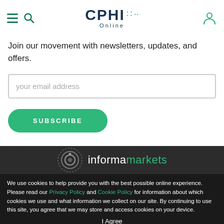CPHI Online
Join our movement with newsletters, updates, and offers.
your email address
SUBSCRIBE
[Figure (logo): Informa Markets logo with circular swirl icon in grey/white and text 'informa markets' in white and green]
We use cookies to help provide you with the best possible online experience. Please read our Privacy Policy and Cookie Policy for information about which cookies we use and what information we collect on our site. By continuing to use this site, you agree that we may store and access cookies on your device.
I Agree